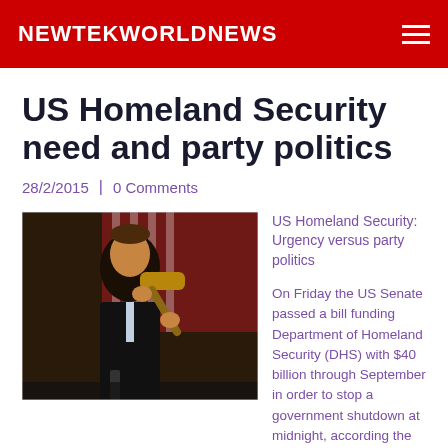NEWTEKWORLDNEWS
US Homeland Security need and party politics
28/2/2015 | 0 Comments
[Figure (photo): A man in a suit holding a wooden gavel, photographed in front of a US flag]
US Homeland Security: Urgency versus party politics

On Friday the US Senate passed a bill funding Department of Homeland Security (DHS) with $40 billion through September in order to stop a government shutdown at midnight, according the CNBC news.